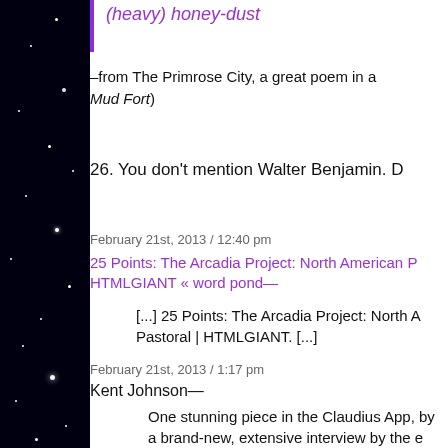(heavy) honey-dust
–from The Primrose City, a great poem in a Mud Fort)
26. You don't mention Walter Benjamin. D
February 21st, 2013 / 12:40 pm
25 Points: The Arcadia Project: North American P HTMLGIANT « word pond—
[...] 25 Points: The Arcadia Project: North A Pastoral | HTMLGIANT. [...]
February 21st, 2013 / 1:17 pm
Kent Johnson—
One stunning piece in the Claudius App, by a brand-new, extensive interview by the e conceptual/institutional-critique artist Da